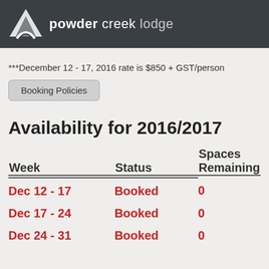powder creek lodge
***December 12 - 17, 2016 rate is $850 + GST/person
Booking Policies
Availability for 2016/2017
| Week | Status | Spaces Remaining |
| --- | --- | --- |
| Dec 12 - 17 | Booked | 0 |
| Dec 17 - 24 | Booked | 0 |
| Dec 24 - 31 | Booked | 0 |